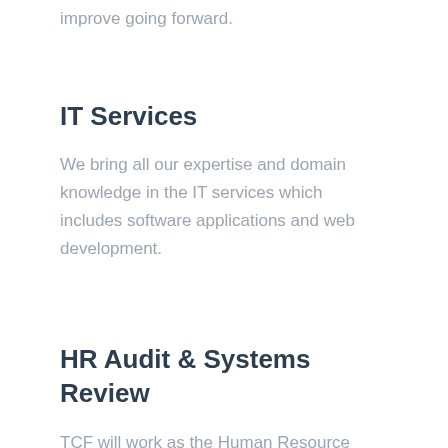improve going forward.
IT Services
We bring all our expertise and domain knowledge in the IT services which includes software applications and web development.
HR Audit & Systems Review
TCF will work as the Human Resource Department for the company and